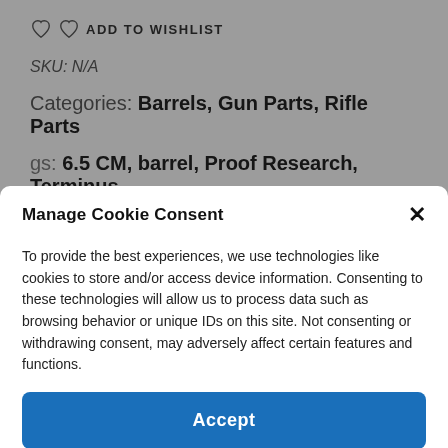ADD TO WISHLIST
SKU: N/A
Categories: Barrels, Gun Parts, Rifle Parts
Tags: 6.5 CM, barrel, Proof Research, Terminus
Manage Cookie Consent
To provide the best experiences, we use technologies like cookies to store and/or access device information. Consenting to these technologies will allow us to process data such as browsing behavior or unique IDs on this site. Not consenting or withdrawing consent, may adversely affect certain features and functions.
Accept
Cookie Policy   Privacy Policy